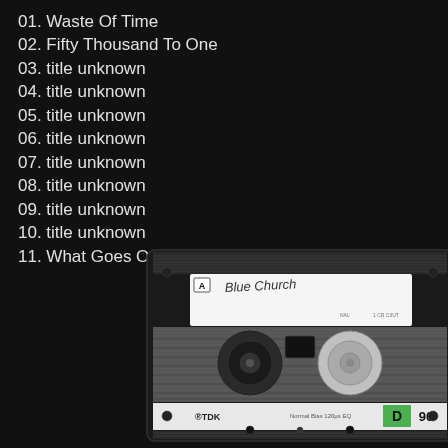01. Waste Of Time
02. Fifty Thousand To One
03. title unknown
04. title unknown
05. title unknown
06. title unknown
07. title unknown
08. title unknown
09. title unknown
10. title unknown
11. What Goes On
[Figure (photo): A TDK D90 cassette tape, side A, with handwritten label reading 'Blue Church', shown on dark background]